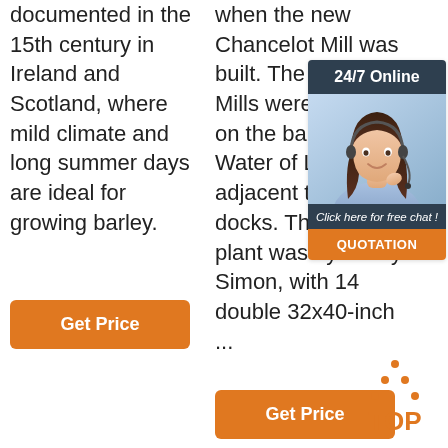documented in the 15th century in Ireland and Scotland, where mild climate and long summer days are ideal for growing barley.
[Figure (other): Orange 'Get Price' button in left column]
when the new Chancelot Mill was built. The Junction Mills were situated on the banks of the Water of Leith, adjacent to the docks. The flour plant was by Henry Simon, with 14 double 32x40-inch ...
[Figure (other): Sidebar widget with '24/7 Online' header, photo of smiling woman with headset, 'Click here for free chat!' text, and QUOTATION button]
[Figure (other): Orange 'Get Price' button in middle column]
[Figure (other): TOP logo with dotted triangle and orange text]